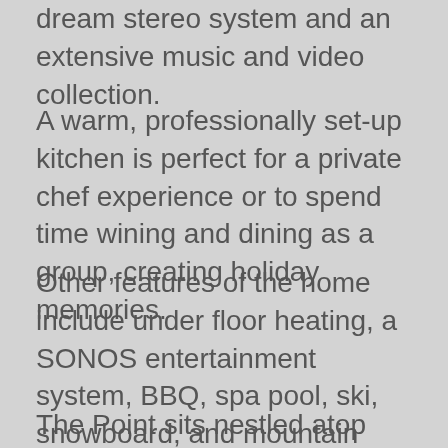dream stereo system and an extensive music and video collection.
A warm, professionally set-up kitchen is perfect for a private chef experience or to spend time wining and dining as a group, creating holiday memories.
Other features of the home include under floor heating, a SONOS entertainment system, BBQ, spa pool, ski, snowboard, and mountain bike racks and an extensive library of books, games, and movies.
The Point sits nestled atop the Shotover River at the end of a private drive in the local area of